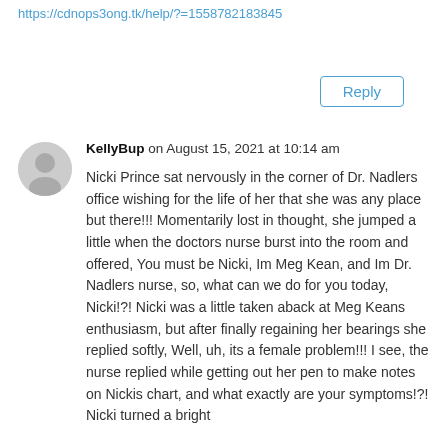https://cdnops3ong.tk/help/?=1558782183845
Reply
[Figure (illustration): Gray circular avatar placeholder icon with a person silhouette]
KellyBup on August 15, 2021 at 10:14 am
Nicki Prince sat nervously in the corner of Dr. Nadlers office wishing for the life of her that she was any place but there!!! Momentarily lost in thought, she jumped a little when the doctors nurse burst into the room and offered, You must be Nicki, Im Meg Kean, and Im Dr. Nadlers nurse, so, what can we do for you today, Nicki!?! Nicki was a little taken aback at Meg Keans enthusiasm, but after finally regaining her bearings she replied softly, Well, uh, its a female problem!!! I see, the nurse replied while getting out her pen to make notes on Nickis chart, and what exactly are your symptoms!?! Nicki turned a bright